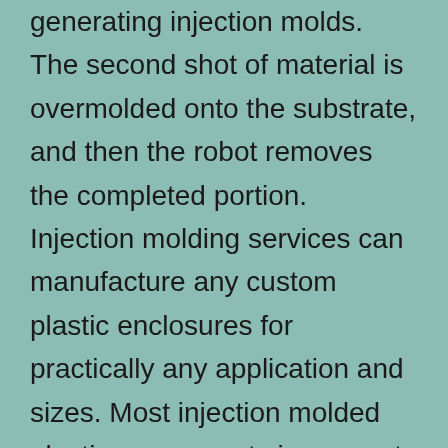generating injection molds. The second shot of material is overmolded onto the substrate, and then the robot removes the completed portion. Injection molding services can manufacture any custom plastic enclosures for practically any application and sizes. Most injection molded plastic components incorporate attributes such as outside walls and internal ribs that are formed by opposing surfaces of tool metal inside a closed mold. Texturing is an integral piece in general product improvement and should be deemed throughout the design and style approach to achieve the preferred outcomes. With innovations and revolutionary